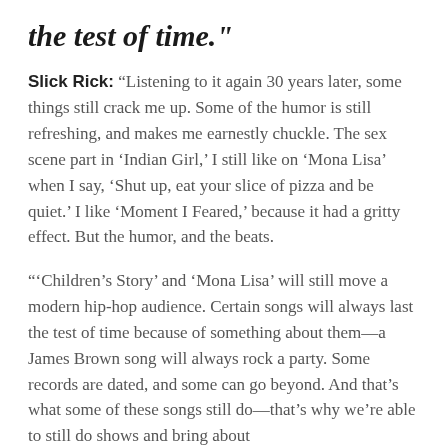the test of time."
Slick Rick: "Listening to it again 30 years later, some things still crack me up. Some of the humor is still refreshing, and makes me earnestly chuckle. The sex scene part in ‘Indian Girl,’ I still like on ‘Mona Lisa’ when I say, ‘Shut up, eat your slice of pizza and be quiet.’ I like ‘Moment I Feared,’ because it had a gritty effect. But the humor, and the beats.
"‘Children’s Story’ and ‘Mona Lisa’ will still move a modern hip-hop audience. Certain songs will always last the test of time because of something about them—a James Brown song will always rock a party. Some records are dated, and some can go beyond. And that’s what some of these songs still do—that’s why we’re able to still do shows and bring about